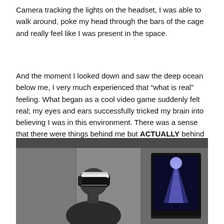Camera tracking the lights on the headset, I was able to walk around, poke my head through the bars of the cage and really feel like I was present in the space.
And the moment I looked down and saw the deep ocean below me, I very much experienced that “what is real” feeling. What began as a cool video game suddenly felt real; my eyes and ears successfully tricked my brain into believing I was in this environment. There was a sense that there were things behind me but ACTUALLY behind me, not that in-a-video-game behind me. I know that sounds really strange, but I can think of no other way to describe the sudden perspective change I felt.
[Figure (photo): A person wearing a Sony PlayStation VR headset viewed from the side, with a grey backdrop behind them and a black display/monitor visible on the right side of the image.]